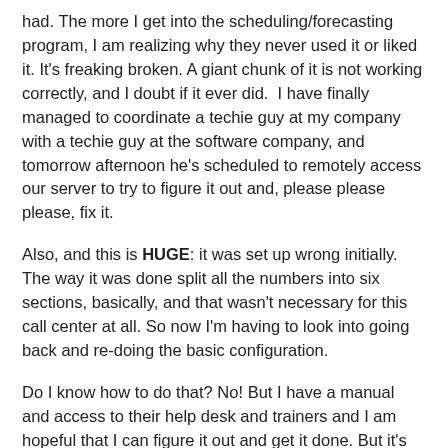had. The more I get into the scheduling/forecasting program, I am realizing why they never used it or liked it. It's freaking broken. A giant chunk of it is not working correctly, and I doubt if it ever did.  I have finally managed to coordinate a techie guy at my company with a techie guy at the software company, and tomorrow afternoon he's scheduled to remotely access our server to try to figure it out and, please please please, fix it.
Also, and this is HUGE: it was set up wrong initially. The way it was done split all the numbers into six sections, basically, and that wasn't necessary for this call center at all. So now I'm having to look into going back and re-doing the basic configuration.
Do I know how to do that? No! But I have a manual and access to their help desk and trainers and I am hopeful that I can figure it out and get it done. But it's going to take a while. And in the meantime I'm still struggling with computer problems of my own, like my email not working, etc. It's frustrating.